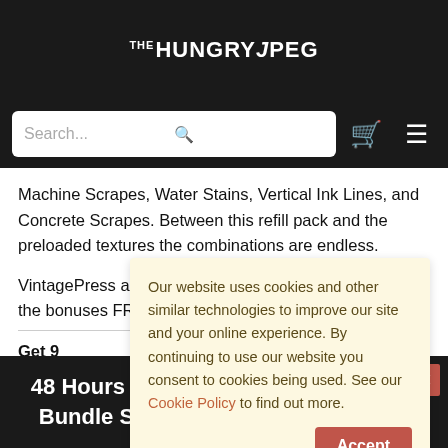THE HUNGRY JPEG
[Figure (screenshot): Search bar with cart and hamburger menu icons on dark background]
Machine Scrapes, Water Stains, Vertical Ink Lines, and Concrete Scrapes. Between this refill pack and the preloaded textures the combinations are endless.
VintagePress alone retails for $19 but buy now and get the bonuses FREE
Get 9 ... brushes ... Co. ne...
Our website uses cookies and other similar technologies to improve our site and your online experience. By continuing to use our website you consent to cookies being used. See our Cookie Policy to find out more.
48 Hours Only! Get 20% Off The Font Bundle Season 1! Code: S1FONT20